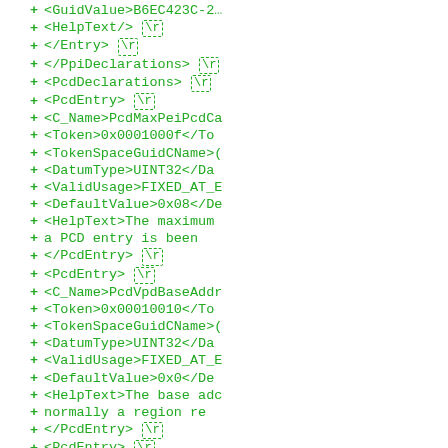Code diff showing XML PCD declarations with added lines including GuidValue, HelpText, Entry, PpiDeclarations, PcdDeclarations, PcdEntry elements with C_Name, Token, TokenSpaceGuidCName, DatumType, ValidUsage, DefaultValue, HelpText fields for PcdMaxPeiPcdCa, PcdVpdBaseAddr, and PcdSupportUpda entries